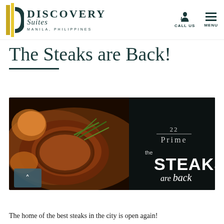Discovery Suites Manila, Philippines — CALL US / MENU
The Steaks are Back!
[Figure (photo): Promotional photo of grilled steak with herbs and sides on a dark slate plate, overlaid with '22 Prime — the STEAKS are back' branding text. A teal navigation button with an up arrow is visible at the bottom left.]
The home of the best steaks in the city is open again!